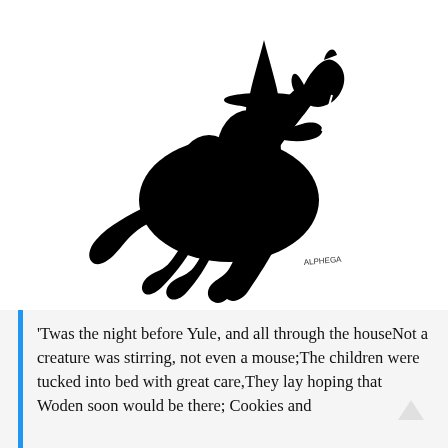[Figure (illustration): Black silhouette illustration of a witch or cloaked figure wearing a wide-brimmed pointed hat, riding a rearing horse. The figure carries a large sack. The horse's legs are extended in a galloping pose. Artist signature visible in lower right of the illustration.]
'Twas the night before Yule, and all through the houseNot a creature was stirring, not even a mouse;The children were tucked into bed with great care,They lay hoping that Woden soon would be there; Cookies and